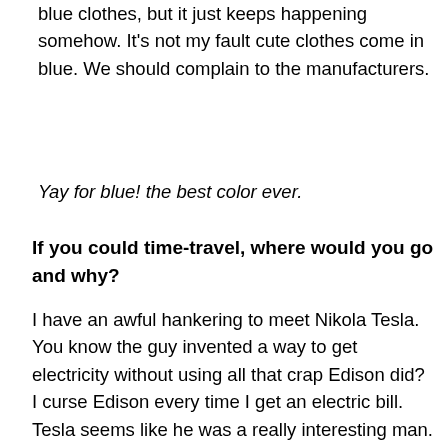blue clothes, but it just keeps happening somehow. It's not my fault cute clothes come in blue. We should complain to the manufacturers.
Yay for blue! the best color ever.
If you could time-travel, where would you go and why?
I have an awful hankering to meet Nikola Tesla. You know the guy invented a way to get electricity without using all that crap Edison did? I curse Edison every time I get an electric bill. Tesla seems like he was a really interesting man. Little is really known about him, but I'd sure like to talk to him.
Why are manhole covers round?
They were inspired by stroopwafels. Have you ever had